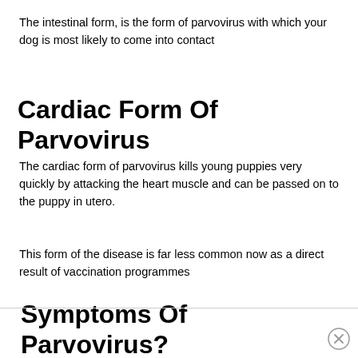The intestinal form,  is the form of parvovirus with which your dog is most likely to come into contact
Cardiac Form Of Parvovirus
The cardiac form of parvovirus kills young puppies very quickly by attacking the heart muscle and can be passed on to the puppy in utero.
This form of the disease is far less common now as a direct result of vaccination programmes
Symptoms Of Parvovirus?